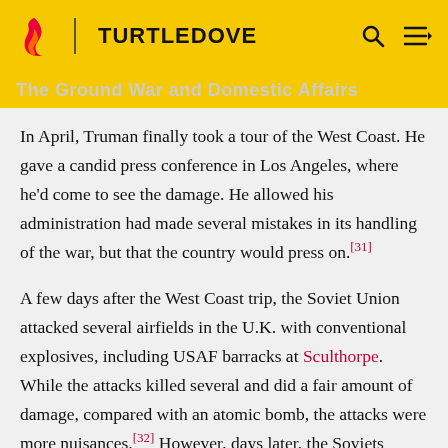TURTLEDOVE
The Ground War and Domestic Affairs
In April, Truman finally took a tour of the West Coast. He gave a candid press conference in Los Angeles, where he'd come to see the damage. He allowed his administration had made several mistakes in its handling of the war, but that the country would press on.[31]
A few days after the West Coast trip, the Soviet Union attacked several airfields in the U.K. with conventional explosives, including USAF barracks at Sculthorpe. While the attacks killed several and did a fair amount of damage, compared with an atomic bomb, the attacks were more nuisances.[32] However, days later, the Soviets inflicted another atomic attack on the U.S. when it successfully placed an atom bomb in a Greek-listed